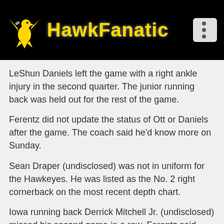HawkFanatic
LeShun Daniels left the game with a right ankle injury in the second quarter. The junior running back was held out for the rest of the game.
Ferentz did not update the status of Ott or Daniels after the game. The coach said he'd know more on Sunday.
Sean Draper (undisclosed) was not in uniform for the Hawkeyes. He was listed as the No. 2 right cornerback on the most recent depth chart.
Iowa running back Derrick Mitchell Jr. (undisclosed) missed his second game in a row. Ferentz said before the opener that the sophomore from St. Louis clearly was No. 3 on the depth chart.